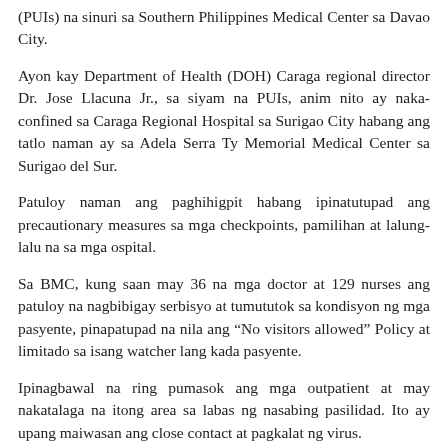(PUIs) na sinuri sa Southern Philippines Medical Center sa Davao City.
Ayon kay Department of Health (DOH) Caraga regional director Dr. Jose Llacuna Jr., sa siyam na PUIs, anim nito ay naka-confined sa Caraga Regional Hospital sa Surigao City habang ang tatlo naman ay sa Adela Serra Ty Memorial Medical Center sa Surigao del Sur.
Patuloy naman ang paghihigpit habang ipinatutupad ang precautionary measures sa mga checkpoints, pamilihan at lalung-lalu na sa mga ospital.
Sa BMC, kung saan may 36 na mga doctor at 129 nurses ang patuloy na nagbibigay serbisyo at tumututok sa kondisyon ng mga pasyente, pinapatupad na nila ang “No visitors allowed” Policy at limitado sa isang watcher lang kada pasyente.
Ipinagbawal na ring pumasok ang mga outpatient at may nakatalaga na itong area sa labas ng nasabing pasilidad. Ito ay upang maiwasan ang close contact at pagkalat ng virus.
Dumadaan din sa thermal scanning at disinfection tent ang lahat ng indibidwal na pumapasok sa entrance ng ospital.